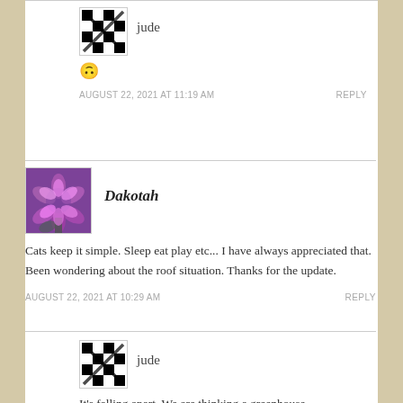[Figure (illustration): Avatar for user jude - black and white crosshatch/X pattern image]
jude
🙃
AUGUST 22, 2021 AT 11:19 AM
REPLY
[Figure (photo): Avatar for user Dakotah - pink/purple flowers photo]
Dakotah
Cats keep it simple. Sleep eat play etc... I have always appreciated that. Been wondering about the roof situation. Thanks for the update.
AUGUST 22, 2021 AT 10:29 AM
REPLY
[Figure (illustration): Avatar for user jude - black and white crosshatch/X pattern image]
jude
It's falling apart. We are thinking a greenhouse